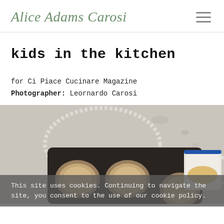Alice Adams Carosi
kids in the kitchen
for Ci Piace Cucinare Magazine
Photographer: Leornardo Carosi
[Figure (photo): Overhead photo of a dark baking tray with round baked goods (muffins or rolls) and a blue-rimmed mug on a light stone or marble surface]
This site uses cookies. Continuing to navigate the site, you consent to the use of our cookie policy.